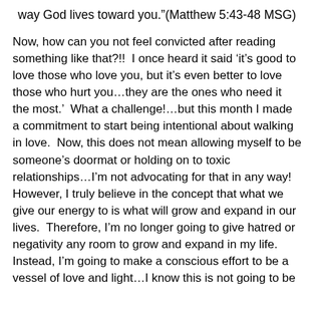way God lives toward you.”(Matthew 5:43-48 MSG)
Now, how can you not feel convicted after reading something like that?!!  I once heard it said ‘it’s good to love those who love you, but it’s even better to love those who hurt you…they are the ones who need it the most.’  What a challenge!…but this month I made a commitment to start being intentional about walking in love.  Now, this does not mean allowing myself to be someone’s doormat or holding on to toxic relationships…I’m not advocating for that in any way!  However, I truly believe in the concept that what we give our energy to is what will grow and expand in our lives.  Therefore, I’m no longer going to give hatred or negativity any room to grow and expand in my life.  Instead, I’m going to make a conscious effort to be a vessel of love and light…I know this is not going to be